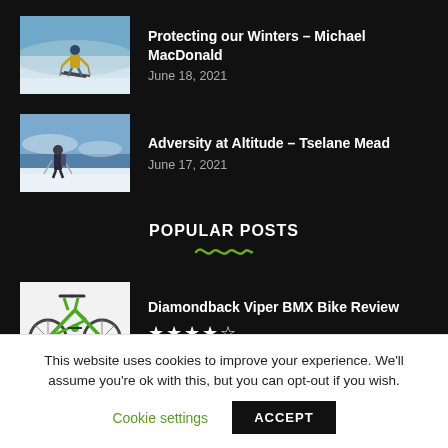[Figure (photo): Skier on snowy mountain slope wearing yellow jacket and helmet]
Protecting our Winters – Michael MacDonald
June 18, 2021
[Figure (photo): Person standing on snowy mountain with poles, snow-covered peaks behind]
Adversity at Altitude – Tselane Mead
June 17, 2021
POPULAR POSTS
[Figure (photo): Green Diamondback Viper BMX bicycle on white background]
Diamondback Viper BMX Bike Review
★★★★☆
This website uses cookies to improve your experience. We'll assume you're ok with this, but you can opt-out if you wish.
Cookie settings
ACCEPT